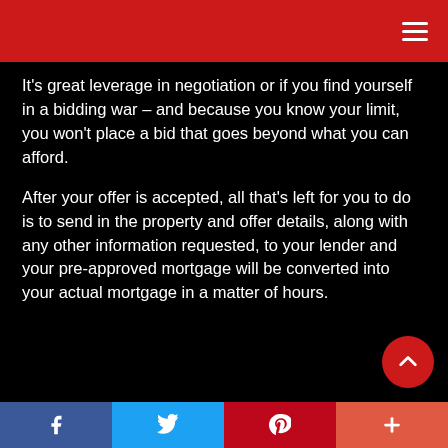It’s great leverage in negotiation or if you find yourself in a bidding war – and because you know your limit, you won’t place a bid that goes beyond what you can afford.
After your offer is accepted, all that’s left for you to do is to send in the property and offer details, along with any other information requested, to your lender and your pre-approved mortgage will be converted into your actual mortgage in a matter of hours.